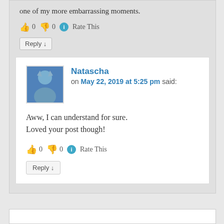one of my more embarrassing moments.
👍 0 👎 0 ℹ Rate This
Reply ↓
Natascha on May 22, 2019 at 5:25 pm said:
Aww, I can understand for sure. Loved your post though!
👍 0 👎 0 ℹ Rate This
Reply ↓